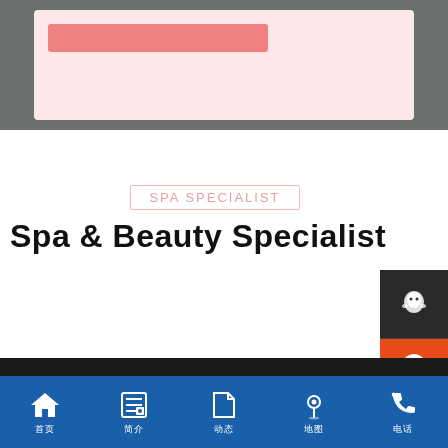[Figure (screenshot): Top banner with dark gray background containing a light pink card with a salmon/coral colored bar element]
SPA SPECIALIST
Spa & Beauty Specialist
[Figure (screenshot): Right side panel with dark buttons: QQ icon button, orange consultation button with Chinese text 在线咨询, QR code button, gray scroll button, WeChat button, and chevron/arrow button]
首页  简介  动态  地图  电话